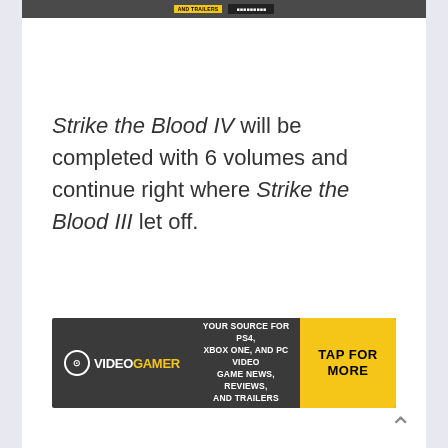[Figure (screenshot): Top advertisement banner for VideoGamer — dark grey background with yellow 'AND TRAILERS' tag and a black button, partially cropped at top of page]
Strike the Blood IV will be completed with 6 volumes and continue right where Strike the Blood III let off.
[Figure (screenshot): VideoGamer advertisement banner: dark grey background with circular VideoGamer logo (white text, yellow GAMER), tagline 'YOUR SOURCE FOR PS4, XBOX ONE, AND PC VIDEO GAME NEWS, REVIEWS, AND TRAILERS', and yellow 'TAP FOR MORE' button]